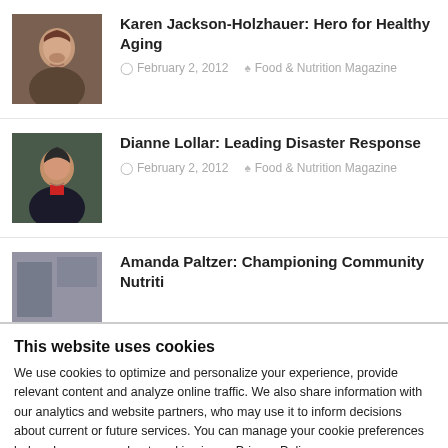Karen Jackson-Holzhauer: Hero for Healthy Aging | February 2, 2012 | Food & Nutrition Magazine
Dianne Lollar: Leading Disaster Response | February 2, 2012 | Food & Nutrition Magazine
Amanda Paltzer: Championing Community Nutrition
This website uses cookies
We use cookies to optimize and personalize your experience, provide relevant content and analyze online traffic. We also share information with our analytics and website partners, who may use it to inform decisions about current or future services. You can manage your cookie preferences below. Learn more about cookies in our Privacy Policy.
OK
Necessary | Preferences | Statistics | Marketing | Show details